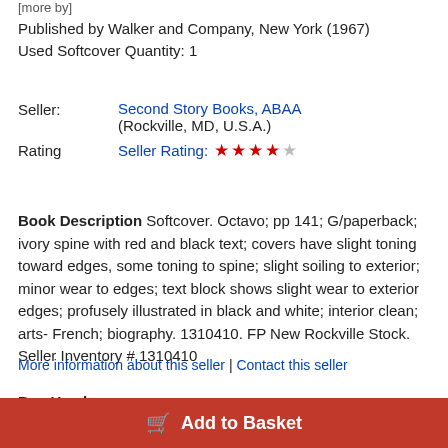[more by]
Published by Walker and Company, New York (1967)
Used Softcover Quantity: 1
Seller: Second Story Books, ABAA (Rockville, MD, U.S.A.)
Rating: Seller Rating: 4 out of 5 stars
Book Description Softcover. Octavo; pp 141; G/paperback; ivory spine with red and black text; covers have slight toning toward edges, some toning to spine; slight soiling to exterior; minor wear to edges; text block shows slight wear to exterior edges; profusely illustrated in black and white; interior clean; arts- French; biography. 1310410. FP New Rockville Stock. Seller Inventory # 1310410
More information about this seller | Contact this seller
Buy Used
US$ 12.00
Convert currency
Add to Basket